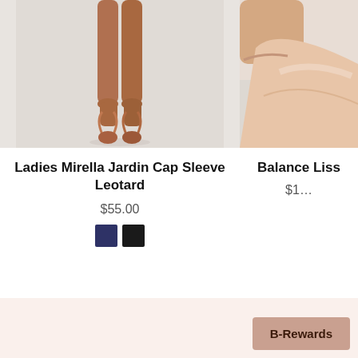[Figure (photo): Photo of ballet dancer legs in pointe shoes, cropped at thighs, standing en pointe on a light grey background]
[Figure (photo): Partial photo of a ballet pointe shoe in beige/pink satin, partially cropped on the right side]
Ladies Mirella Jardin Cap Sleeve Leotard
$55.00
[Figure (other): Two color swatches: navy blue and black]
Balance Liss
$1…
B-Rewards